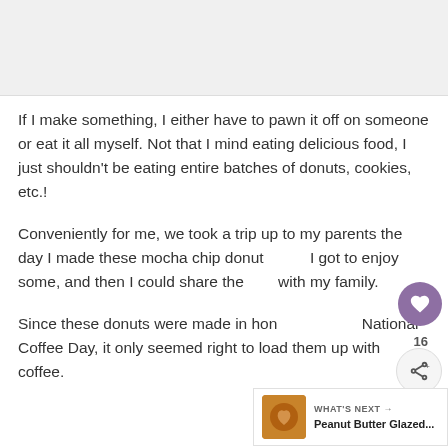[Figure (photo): Image placeholder at top of page, light gray background]
If I make something, I either have to pawn it off on someone or eat it all myself. Not that I mind eating delicious food, I just shouldn't be eating entire batches of donuts, cookies, etc.!
Conveniently for me, we took a trip up to my parents the day I made these mocha chip donuts. I got to enjoy some, and then I could share them with my family.
Since these donuts were made in honor of National Coffee Day, it only seemed right to load them up with coffee.